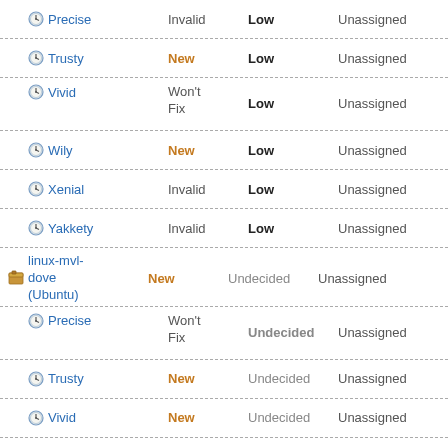| Package/Series | Status | Importance | Assignee |
| --- | --- | --- | --- |
| Precise | Invalid | Low | Unassigned |
| Trusty | New | Low | Unassigned |
| Vivid | Won't Fix | Low | Unassigned |
| Wily | New | Low | Unassigned |
| Xenial | Invalid | Low | Unassigned |
| Yakkety | Invalid | Low | Unassigned |
| linux-mvl-dove (Ubuntu) | New | Undecided | Unassigned |
| Precise | Won't Fix | Undecided | Unassigned |
| Trusty | New | Undecided | Unassigned |
| Vivid | New | Undecided | Unassigned |
| Wily | New | Undecided | Unassigned |
| Xenial | New | Undecided | Unassigned |
| Yakkety | New | Undecided | Unassigned |
| linux-ti-omap4 | New | Undecided | Unassigned |